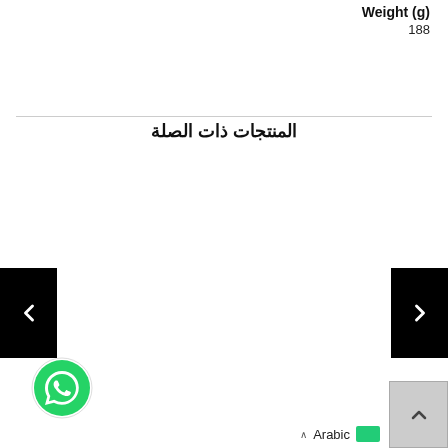Weight (g)
188
المنتجات ذات الصلة
< (left navigation arrow)
> (right navigation arrow)
[Figure (logo): WhatsApp green phone icon in circle]
∧ Arabic [flag]